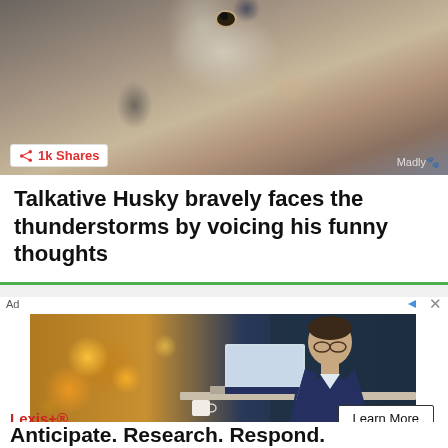[Figure (photo): Close-up photo of a husky dog face with fur texture, tan/brown background with watermark 'Madly[?]']
1k Shares
Talkative Husky bravely faces the thunderstorms by voicing his funny thoughts
Ad
[Figure (photo): Advertisement photo of a man in a business suit working on a laptop at a desk with bokeh golden light background]
Anticipate. Research. Respond.
Lexis+®
Learn More